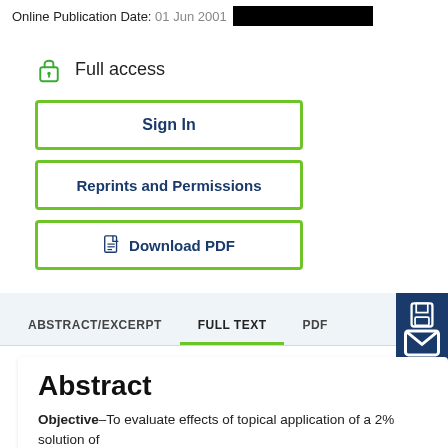Online Publication Date: 01 Jun 2001
Full access
Sign In
Reprints and Permissions
Download PDF
ABSTRACT/EXCERPT   FULL TEXT   PDF
Abstract
Objective–To evaluate effects of topical application of a 2% solution of